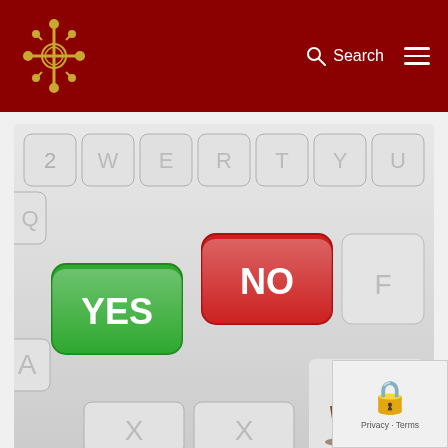Search
[Figure (photo): Keyboard with a green YES key and a red NO key, with a Coffee Break logo in the bottom right corner]
Category: Coffee Break • By Praise Center Admin • October 15, 2015 • Leave a comment
Tags: Afraid | Bible Study | Coffee Break | Lady Yolinda McCo... | PCC Women's Ministry | Praise Center | Say | Small Group